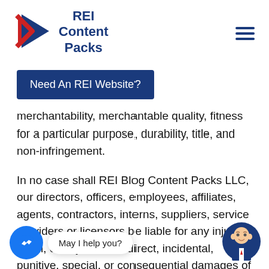[Figure (logo): REI Content Packs logo with blue play button arrow and red chevron accent, with bold blue text reading REI Content Packs]
[Figure (other): Hamburger menu icon (three horizontal dark blue lines)]
Need An REI Website?
merchantability, merchantable quality, fitness for a particular purpose, durability, title, and non-infringement.
In no case shall REI Blog Content Packs LLC, our directors, officers, employees, affiliates, agents, contractors, interns, suppliers, service providers or licensors be liable for any injury, claim, or any direct, indirect, incidental, punitive, special, or consequential damages of
[Figure (other): Facebook Messenger chat icon (blue circle with white lightning bolt) with chat bubble saying 'May I help you?' and cartoon avatar of bald man in suit on the right]